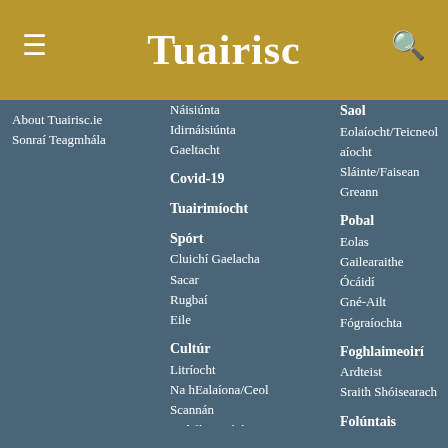Tuairisc
About Tuairisc.ie
Sonraí Teagmhála
Náisiúnta
Idirnáisiúnta
Gaeltacht
Covid-19
Tuairimíocht
Spórt
Cluichí Gaelacha
Sacar
Rugbaí
Eile
Cultúr
Litríocht
Na hEalaíona/Ceol
Scannán
Teilifís/Raidió
Saol
Eolaíocht/Teicneolaíocht
Sláinte/Faisean
Greann
Pobal
Eolas
Gailearaithe
Ócáidí
Gné-Ailt
Fógraíochta
Foghlaimeoirí
Ardteist
Sraith Shóisearach
Folúntais